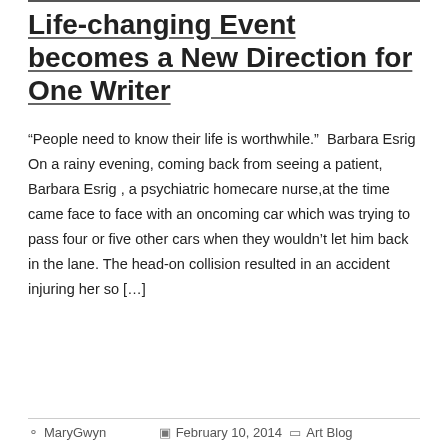Life-changing Event becomes a New Direction for One Writer
“People need to know their life is worthwhile.”  Barbara Esrig On a rainy evening, coming back from seeing a patient, Barbara Esrig , a psychiatric homecare nurse,at the time came face to face with an oncoming car which was trying to pass four or five other cars when they wouldn’t let him back in the lane. The head-on collision resulted in an accident injuring her so […]
MaryGwyn   February 10, 2014   Art Blog